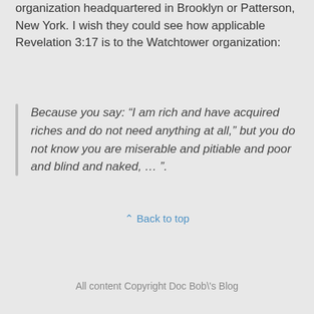organization headquartered in Brooklyn or Patterson, New York. I wish they could see how applicable Revelation 3:17 is to the Watchtower organization:
Because you say: “I am rich and have acquired riches and do not need anything at all,” but you do not know you are miserable and pitiable and poor and blind and naked, … ”.
⌃ Back to top
Mobile | Desktop
All content Copyright Doc Bob\'s Blog